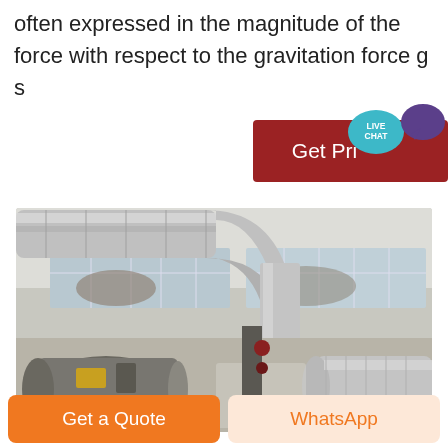often expressed in the magnitude of the force with respect to the gravitation force g s
[Figure (photo): Industrial interior showing large silver insulated air ducts/pipes bending overhead, with factory windows behind and industrial machinery below including cylindrical metal equipment.]
Get Pri... LIVE CHAT
Get a Quote
WhatsApp